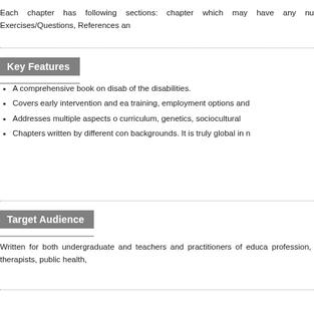Each chapter has following sections: chapter which may have any nu Exercises/Questions, References an
Key Features
A comprehensive book on disab of the disabilities.
Covers early intervention and ea training, employment options and
Addresses multiple aspects o curriculum, genetics, sociocultural
Chapters written by different con backgrounds. It is truly global in n
Target Audience
Written for both undergraduate and teachers and practitioners of educa profession, therapists, public health,